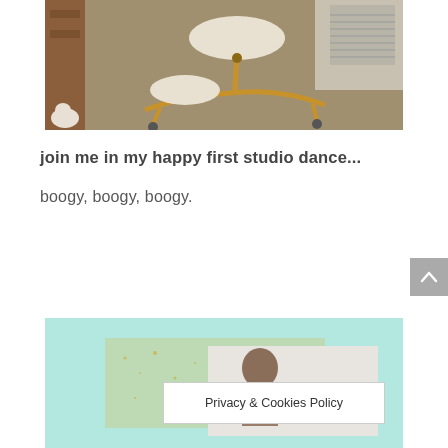[Figure (photo): A kneeling ergonomic chair with wooden frame and white padded seat and knee rest, placed on gray carpet near wooden furniture. Partial view of a cat at lower left.]
join me in my happy first studio dance...
boogy, boogy, boogy.
[Figure (photo): Partially visible image with light blue/mint background, gold glitter scattered across left portion, and a smaller inset photo showing a person against a light background.]
Privacy & Cookies Policy